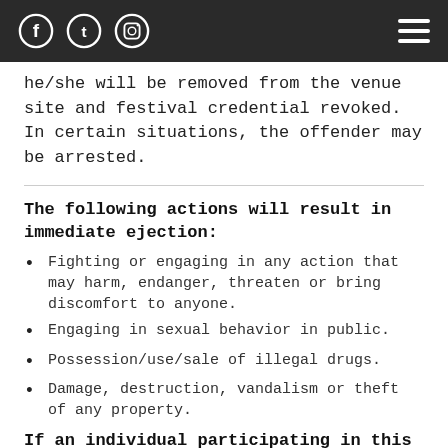[Social media icons: Facebook, Twitter, Instagram] [Hamburger menu]
he/she will be removed from the venue site and festival credential revoked. In certain situations, the offender may be arrested.
The following actions will result in immediate ejection:
Fighting or engaging in any action that may harm, endanger, threaten or bring discomfort to anyone.
Engaging in sexual behavior in public.
Possession/use/sale of illegal drugs.
Damage, destruction, vandalism or theft of any property.
If an individual participating in this behavior is uncooperative or a persistent offender, he/she will be removed from the venue site